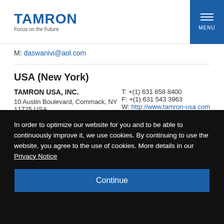TAMRON Focus on the Future | MENU
M: daswanivi@aol.com
USA (New York)
TAMRON USA, INC.
10 Austin Boulevard, Commack, NY 11725 USA
T: +(1) 631 858 8400
F: +(1) 631 543 3963
W: http://www.tamron-usa.com
In order to optimize our website for you and to be able to continuously improve it, we use cookies. By continuing to use the website, you agree to the use of cookies. More details in our Privacy Notice
Continue